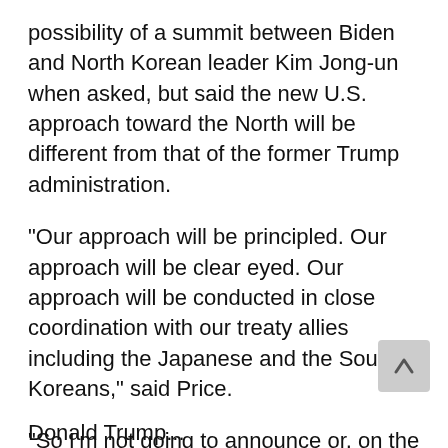possibility of a summit between Biden and North Korean leader Kim Jong-un when asked, but said the new U.S. approach toward the North will be different from that of the former Trump administration.
"Our approach will be principled. Our approach will be clear eyed. Our approach will be conducted in close coordination with our treaty allies including the Japanese and the South Koreans," said Price.
"So I'm not going to announce or, on the other hand, rule out any sort of meetings or any specific diplomatic efforts. But I think those will be the principles that guide our approach to North Korea going forward," he added.
Donald Trump...